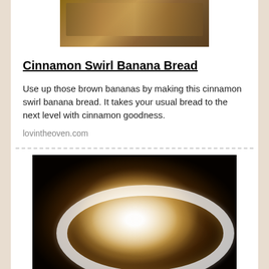[Figure (photo): Top portion of a loaf of cinnamon swirl banana bread on a baking mat, partially cropped]
Cinnamon Swirl Banana Bread
Use up those brown bananas by making this cinnamon swirl banana bread. It takes your usual bread to the next level with cinnamon goodness.
lovintheoven.com
[Figure (photo): Close-up photo of a glazed cinnamon roll with white icing swirled on top, on a white plate, dark background]